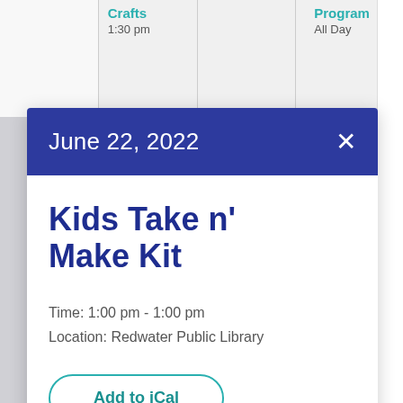Crafts
1:30 pm
Program
All Day
June 22, 2022
Kids Take n' Make Kit
Time: 1:00 pm - 1:00 pm
Location: Redwater Public Library
Add to iCal